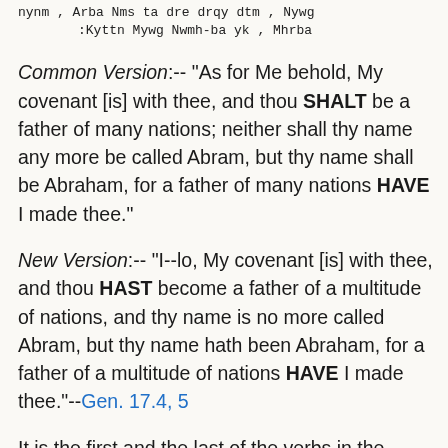nynm , Arba Nms ta dre drqy dtm , Nywg :Kyttn Mywg Nwmh-ba yk , Mhrba
Common Version:-- "As for Me behold, My covenant [is] with thee, and thou SHALT be a father of many nations; neither shall thy name any more be called Abram, but thy name shall be Abraham, for a father of many nations HAVE I made thee."
New Version:-- "I--lo, My covenant [is] with thee, and thou HAST become a father of a multitude of nations, and thy name is no more called Abram, but thy name hath been Abraham, for a father of a multitude of nations HAVE I made thee."--Gen. 17.4, 5
It is the first and the last of the verbs in the above verses to which the reader's attention is specially requested, viz. those